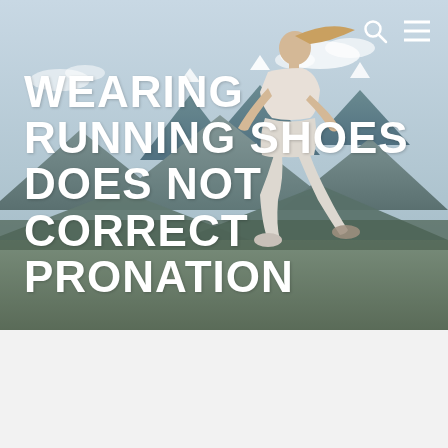[Figure (photo): Woman in athletic wear running outdoors with mountains and sky in the background. Navigation icons (search and hamburger menu) visible in top-right corner.]
WEARING RUNNING SHOES DOES NOT CORRECT PRONATION
LATEST
[Figure (photo): Thumbnail image showing a crowd scene with '2020' text visible in red/white.]
ENGLISH